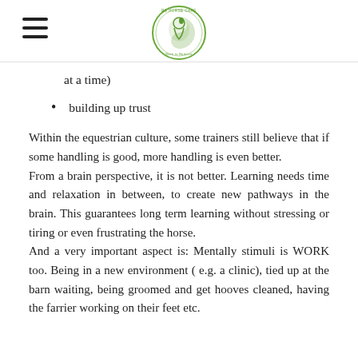RS Horse Care – Back to Balance logo
at a time)
building up trust
Within the equestrian culture, some trainers still believe that if some handling is good, more handling is even better.
From a brain perspective, it is not better. Learning needs time and relaxation in between, to create new pathways in the brain. This guarantees long term learning without stressing or tiring or even frustrating the horse.
And a very important aspect is: Mentally stimuli is WORK too. Being in a new environment ( e.g. a clinic), tied up at the barn waiting, being groomed and get hooves cleaned, having the farrier working on their feet etc.